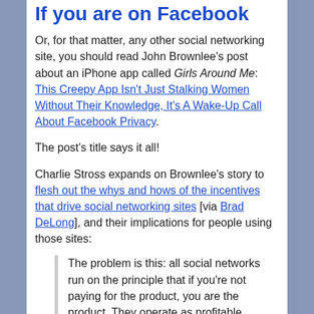If you are on Facebook
Or, for that matter, any other social networking site, you should read John Brownlee's post about an iPhone app called Girls Around Me: This Creepy App Isn't Just Stalking Women Without Their Knowledge, It's A Wake-Up Call About Facebook Privacy.
The post's title says it all!
Charlie Stross expands on Brownlee's story to flesh out the whys and hows of the incentives that drive social networking sites [via Brad DeLong], and their implications for people using those sites:
The problem is this: all social networks run on the principle that if you're not paying for the product, you are the product. They operate as profitable businesses because they encourage users to channel their